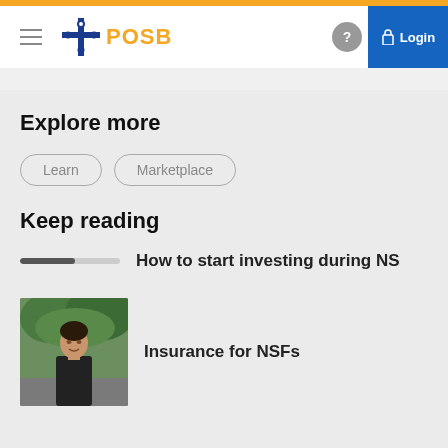POSB Login
Explore more
Learn
Marketplace
Keep reading
How to start investing during NS
[Figure (photo): Young man in black t-shirt standing outdoors with greenery in the background]
Insurance for NSFs